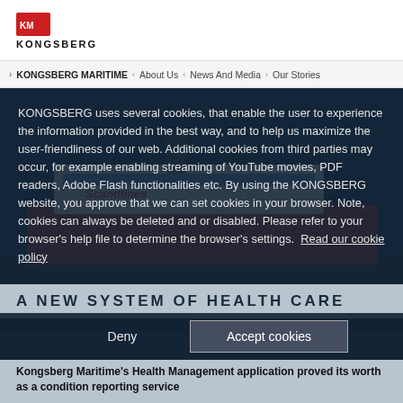KONGSBERG
> KONGSBERG MARITIME < About Us < News And Media < Our Stories
[Figure (screenshot): Cookie consent overlay on Kongsberg Maritime website, showing a ship (Scandlines ferry) in background and cookie policy text]
KONGSBERG uses several cookies, that enable the user to experience the information provided in the best way, and to help us maximize the user-friendliness of our web. Additional cookies from third parties may occur, for example enabling streaming of YouTube movies, PDF readers, Adobe Flash functionalities etc. By using the KONGSBERG website, you approve that we can set cookies in your browser. Note, cookies can always be deleted and or disabled. Please refer to your browser's help file to determine the browser's settings. Read our cookie policy
Deny
Accept cookies
A NEW SYSTEM OF HEALTH CARE
Kongsberg Maritime's Health Management application proved its worth as a condition reporting service